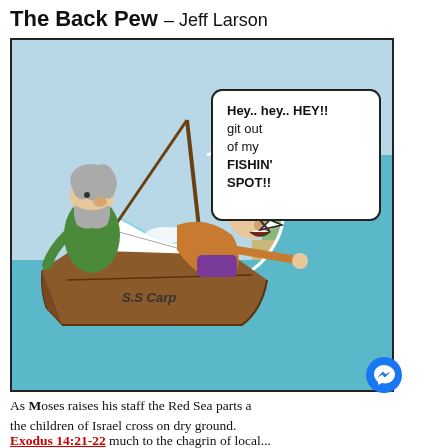The Back Pew – Jeff Larson
[Figure (illustration): Comic cartoon panel from 'The Back Pew' by Jeff Larson. A wooden boat labeled 'S.S Carp' is shown on the parting Red Sea. Moses, an older bearded man in green, stands at the back of the boat. A wild-haired angry man leans over the front of the boat, yelling at the parting waters. Speech bubble reads: 'Hey.. hey.. HEY!! git out of my FISHIN' SPOT!!' The sea is parting showing dry ground on the right side.]
As Moses raises his staff the Red Sea parts and the children of Israel cross on dry ground.
Exodus 14:21-22 much to the chagrin of local...